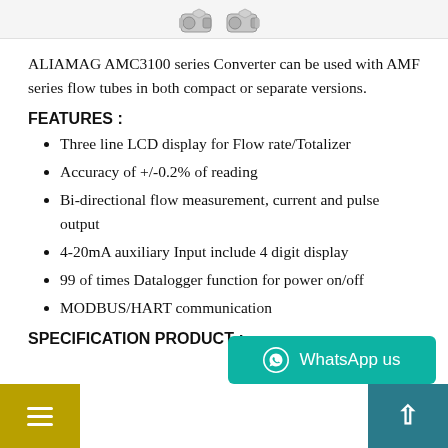[Figure (photo): Partial view of ALIAMAG AMC3100 series converter connectors/fittings at top of page]
ALIAMAG AMC3100 series Converter can be used with AMF series flow tubes in both compact or separate versions.
FEATURES :
Three line LCD display for Flow rate/Totalizer
Accuracy of +/-0.2% of reading
Bi-directional flow measurement, current and pulse output
4-20mA auxiliary Input include 4 digit display
99 of times Datalogger function for power on/off
MODBUS/HART communication
SPECIFICATION PRODUCT :